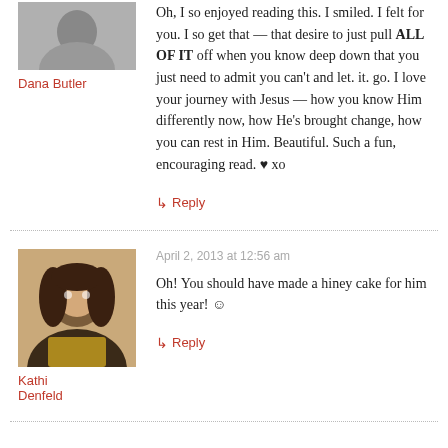[Figure (photo): Avatar photo of Dana Butler, grayscale portrait]
Dana Butler
Oh, I so enjoyed reading this. I smiled. I felt for you. I so get that — that desire to just pull ALL OF IT off when you know deep down that you just need to admit you can't and let. it. go. I love your journey with Jesus — how you know Him differently now, how He's brought change, how you can rest in Him. Beautiful. Such a fun, encouraging read. ♥ xo
↳ Reply
[Figure (photo): Avatar photo of Kathi Denfeld, woman with dark hair]
April 2, 2013 at 12:56 am
Kathi Denfeld
Oh! You should have made a hiney cake for him this year! ☺
↳ Reply